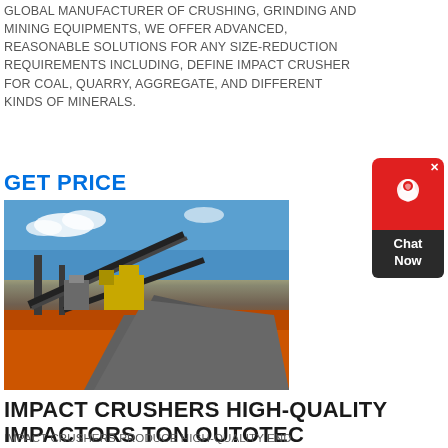GLOBAL MANUFACTURER OF CRUSHING, GRINDING AND MINING EQUIPMENTS, WE OFFER ADVANCED, REASONABLE SOLUTIONS FOR ANY SIZE-REDUCTION REQUIREMENTS INCLUDING, DEFINE IMPACT CRUSHER FOR COAL, QUARRY, AGGREGATE, AND DIFFERENT KINDS OF MINERALS.
GET PRICE
[Figure (photo): Mining/crushing plant with conveyor belts, machinery, and large aggregate pile on red earth terrain under blue sky]
IMPACT CRUSHERS HIGH-QUALITY IMPACTORS TON OUTOTEC
IMPACT CRUSHERS PRODUCE HIGH-QUALITY END